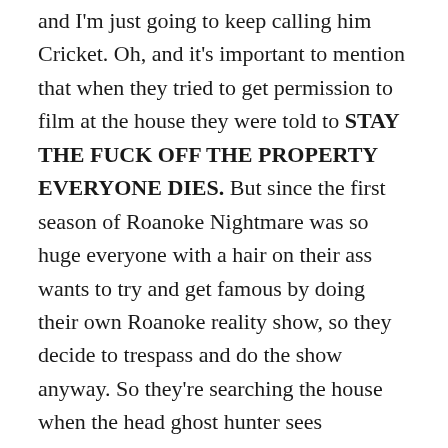and I'm just going to keep calling him Cricket. Oh, and it's important to mention that when they tried to get permission to film at the house they were told to STAY THE FUCK OFF THE PROPERTY EVERYONE DIES. But since the first season of Roanoke Nightmare was so huge everyone with a hair on their ass wants to try and get famous by doing their own Roanoke reality show, so they decide to trespass and do the show anyway. So they're searching the house when the head ghost hunter sees something outside. They start to head to the door but before they turn the corner they're surprised by….. Lee! She's searching for Flora and knows she's at the house with Priscilla. How Flora got there is beyond me. Lee tells the ghost hunters to get the hell out because they're going to die but none, they stay there, and die. The pig man kills